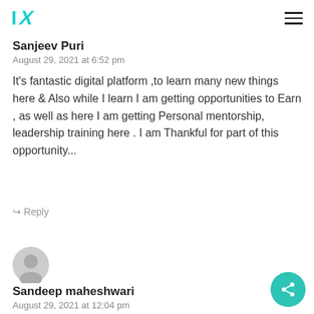IX logo and navigation menu
Sanjeev Puri
August 29, 2021 at 6:52 pm
It's fantastic digital platform ,to learn many new things here & Also while I learn I am getting opportunities to Earn , as well as here I am getting Personal mentorship, leadership training here . I am Thankful for part of this opportunity...
↳ Reply
[Figure (illustration): User avatar circle icon for Sandeep maheshwari]
Sandeep maheshwari
August 29, 2021 at 12:04 pm